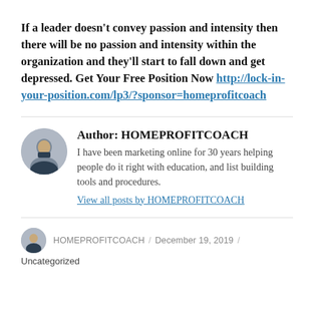If a leader doesn't convey passion and intensity then there will be no passion and intensity within the organization and they'll start to fall down and get depressed. Get Your Free Position Now http://lock-in-your-position.com/lp3/?sponsor=homeprofitcoach
Author: HOMEPROFITCOACH
I have been marketing online for 30 years helping people do it right with education, and list building tools and procedures.
View all posts by HOMEPROFITCOACH
HOMEPROFITCOACH / December 19, 2019 / Uncategorized